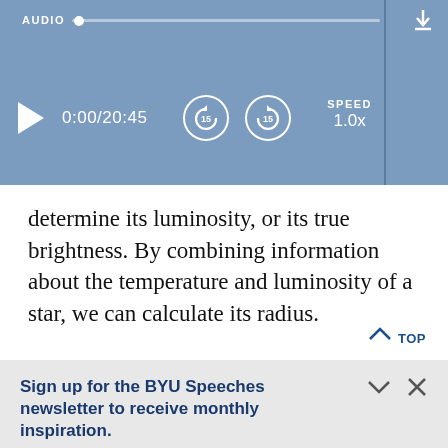AUDIO  0:00/20:45  SPEED 1.0x
determine its luminosity, or its true brightness. By combining information about the temperature and luminosity of a star, we can calculate its radius.
Sign up for the BYU Speeches newsletter to receive monthly inspiration.
A little hope in your inbox.
Enter your email  SUBSCRIBE